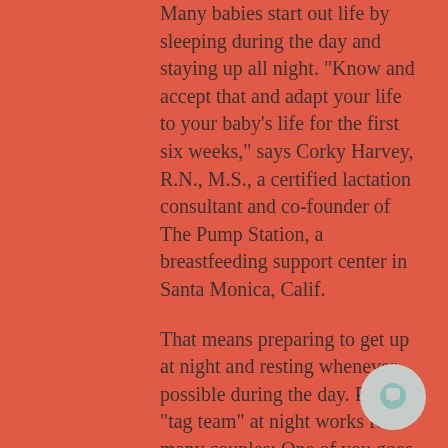Many babies start out life by sleeping during the day and staying up all night. "Know and accept that and adapt your life to your baby's life for the first six weeks," says Corky Harvey, R.N., M.S., a certified lactation consultant and co-founder of The Pump Station, a breastfeeding support center in Santa Monica, Calif.
That means preparing to get up at night and resting whenever possible during the day. Playing "tag team" at night works for many couples: One of you goes to bed early and the other sleeps late. This way, each parent can get a healthy dose of sleep while the other watches the baby.
[Figure (other): Chat/message button icon — circular grey button with a speech bubble icon in light teal/mint color]